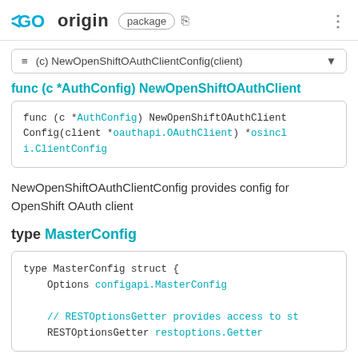GO origin package
≡ (c) NewOpenShiftOAuthClientConfig(client)
func (c *AuthConfig) NewOpenShiftOAuthClientConfig(client *oauthapi.OAuthClient) *osincli.ClientConfig
NewOpenShiftOAuthClientConfig provides config for OpenShift OAuth client
type MasterConfig
type MasterConfig struct {
    Options configapi.MasterConfig

    // RESTOptionsGetter provides access to st
    RESTOptionsGetter restoptions.Getter